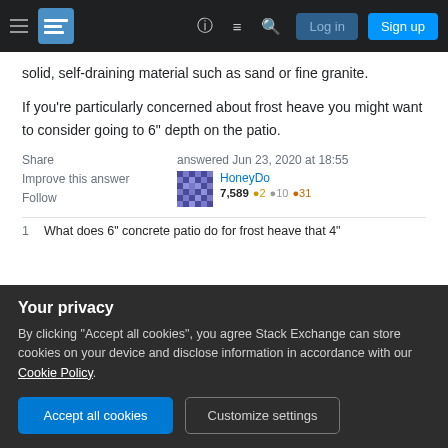Stack Exchange navigation bar with hamburger menu, logo, help, chat, search icons, Log in and Sign up buttons
solid, self-draining material such as sand or fine granite.
If you're particularly concerned about frost heave you might want to consider going to 6" depth on the patio.
Share   Improve this answer   Follow
answered Jun 23, 2020 at 18:55
HoneyDo
7,589 ●2 ●10 ●31
1   What does 6" concrete patio do for frost heave that 4"
Your privacy
By clicking "Accept all cookies", you agree Stack Exchange can store cookies on your device and disclose information in accordance with our Cookie Policy.
Accept all cookies   Customize settings
learn and would like to hear your opinion - but that's my take — HoneyDo Jun 23, 2020 at 23:45